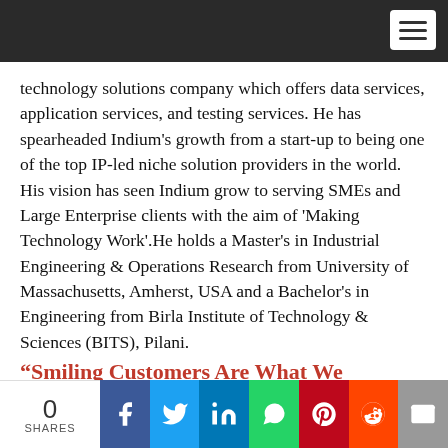[dark navigation bar with hamburger menu]
technology solutions company which offers data services, application services, and testing services. He has spearheaded Indium's growth from a start-up to being one of the top IP-led niche solution providers in the world. His vision has seen Indium grow to serving SMEs and Large Enterprise clients with the aim of 'Making Technology Work'.He holds a Master's in Industrial Engineering & Operations Research from University of Massachusetts, Amherst, USA and a Bachelor's in Engineering from Birla Institute of Technology & Sciences (BITS), Pilani.
“Smiling Customers Are What We
0 SHARES | Facebook | Twitter | LinkedIn | WhatsApp | Pinterest | Reddit | Email